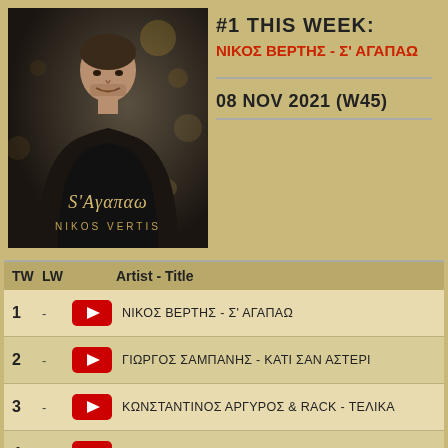[Figure (photo): Album cover for S'Agarao by Nikos Vertis – man in black with bokeh background]
#1 THIS WEEK: ΝΙΚΟΣ ΒΕΡΤΗΣ - Σ' ΑΓΑΠΑΩ
08 NOV 2021 (W45)
| TW | LW |  | Artist - Title |
| --- | --- | --- | --- |
| 1 | - | [YT] | ΝΙΚΟΣ ΒΕΡΤΗΣ - Σ' ΑΓΑΠΑΩ |
| 2 | - | [YT] | ΓΙΩΡΓΟΣ ΣΑΜΠΑΝΗΣ - ΚΑΤΙ ΣΑΝ ΑΣΤΕΡΙ |
| 3 | - | [YT] | ΚΩΝΣΤΑΝΤΙΝΟΣ ΑΡΓΥΡΟΣ & RACK - ΤΕΛΙΚΑ |
| 4 | - | [YT] | ED SHEERAN - BAD HABITS |
| 5 | - | [YT] | ADELE - EASY ON ME |
| 6 | - | [YT] | ΝΙΚΟΣ ΟΙΚΟΝΟΜΟΠΟΥΛΟΣ - ΑΠΟ ΕΡΩΤΑ |
| 7 | - | [YT] | ΗΛΙΑΣ ΒΡΕΤΤΟΣ - ΦΥΣΗΞΕ ΕΡΩΤΑΣ |
| 8 | - | [YT] | MANESKIN - BEGGIN' |
| 9 | - | [YT] | ΠΕΤΡΟΣ ΙΑΚΩΒΙΔΗΣ - ΤΑΤΟΥΑΖ |
| 10 | - | [YT] | ΣΤAΥΕΝΤΟ & ΗΡΩ ΛΑΜΠΟΥ - ΓΙΑ ΣΕΝΑ |